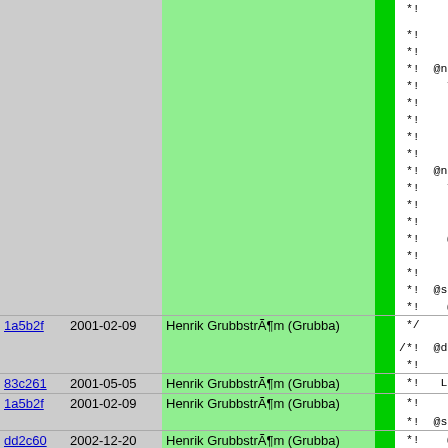| hash | date | author |  | code |
| --- | --- | --- | --- | --- |
|  |  |  |  | *!    assi |
|  |  |  |  | *!    alwa |
|  |  |  |  | *! |
|  |  |  |  | *!  @note |
|  |  |  |  | *!    This |
|  |  |  |  | *!    is. |
|  |  |  |  | *!    one, |
|  |  |  |  | *!    dest |
|  |  |  |  | *! |
|  |  |  |  | *!  @note |
|  |  |  |  | *!    This |
|  |  |  |  | *!    only |
|  |  |  |  | *!    this |
|  |  |  |  | *!    @exp |
|  |  |  |  | *!    one. |
|  |  |  |  | *! |
|  |  |  |  | *!  @seeal |
|  |  |  |  | *!    @[lf |
| 1a5b2f | 2001-02-09 | Henrik GrubbstrÃ¶m (Grubba) |  | */ |
|  |  |  |  |  |
|  |  |  |  | /*!  @decl |
|  |  |  |  |  *! |
| 83c261 | 2001-05-05 | Henrik GrubbstrÃ¶m (Grubba) |  |  *!   Left |
| 1a5b2f | 2001-02-09 | Henrik GrubbstrÃ¶m (Grubba) |  |  *! |
|  |  |  |  |  *!  @seeal |
| dd2c60 | 2002-12-20 | Henrik GrubbstrÃ¶m (Grubba) |  |  *!    @[lf |
| 1a5b2f | 2001-02-09 | Henrik GrubbstrÃ¶m (Grubba) |  |  */ |